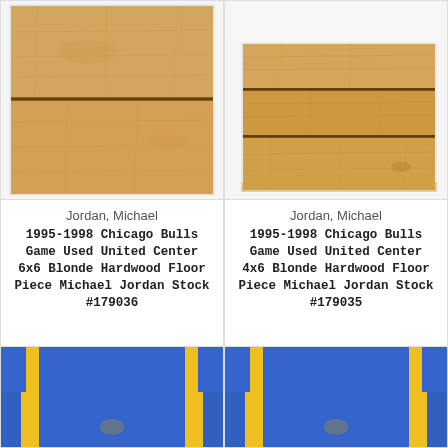[Figure (photo): Wood hardwood floor piece, blonde maple color, two boards with horizontal seam, top card left]
Jordan, Michael
1995-1998 Chicago Bulls Game Used United Center 6x6 Blonde Hardwood Floor Piece Michael Jordan Stock #179036
$199.00
ADD TO CART
[Figure (photo): Wood hardwood floor piece, blonde maple color, three boards with two horizontal seams, top card right]
Jordan, Michael
1995-1998 Chicago Bulls Game Used United Center 4x6 Blonde Hardwood Floor Piece Michael Jordan Stock #179035
$149.00
ADD TO CART
[Figure (photo): Blue basketball jersey with yellow trim, Golden State Warriors style, bottom portion cropped, left]
[Figure (photo): Blue basketball jersey with yellow trim, Golden State Warriors style, bottom portion cropped, right]